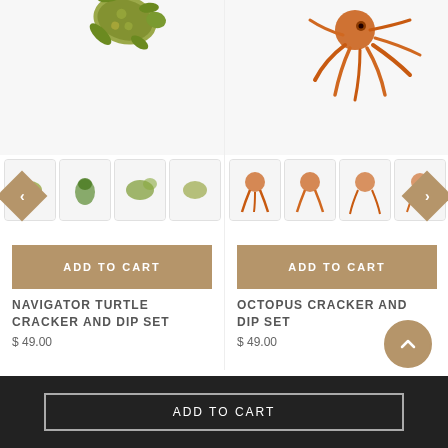[Figure (photo): Navigator Turtle Cracker and Dip Set product image - main view showing white rectangular tray with turtle illustration]
[Figure (photo): Navigator Turtle Cracker and Dip Set thumbnail images - 4 small views of the set]
[Figure (photo): Octopus Cracker and Dip Set product image - main view showing white rectangular tray with octopus illustration]
[Figure (photo): Octopus Cracker and Dip Set thumbnail images - 4 small views of the set]
ADD TO CART
ADD TO CART
NAVIGATOR TURTLE CRACKER AND DIP SET
$ 49.00
OCTOPUS CRACKER AND DIP SET
$ 49.00
ADD TO CART